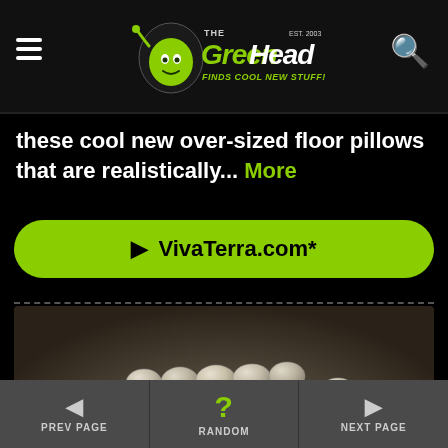The Green Head - Finds Cool New Stuff!
these cool new over-sized floor pillows that are realistically... More
▶ VivaTerra.com*
[Figure (photo): A pillow shaped and textured to look like a collection of river stones or pebbles, photographed on a dark surface with a green plant in background.]
PREV PAGE | RANDOM | NEXT PAGE